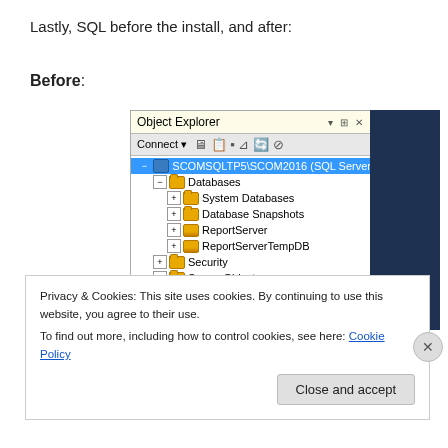Lastly, SQL before the install, and after:
Before:
[Figure (screenshot): SQL Server Management Studio Object Explorer showing SCOMSQLTP5\SCOM2016 (SQL Server) with Databases (System Databases, Database Snapshots, ReportServer, ReportServerTempDB), Security, Server Objects, and Replication nodes. Dark blue panel on right side. Cookie consent banner overlaying bottom portion.]